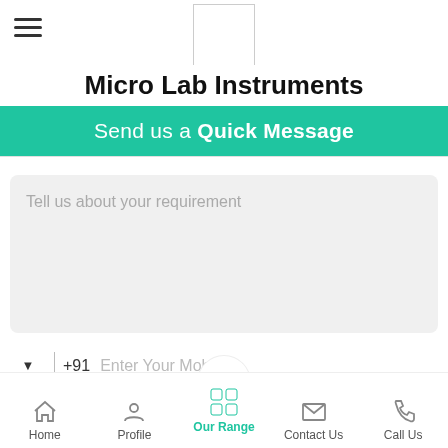Micro Lab Instruments
Send us a Quick Message
Tell us about your requirement
+91  Enter Your Mobile
Send
Home  Profile  Our Range  Contact Us  Call Us